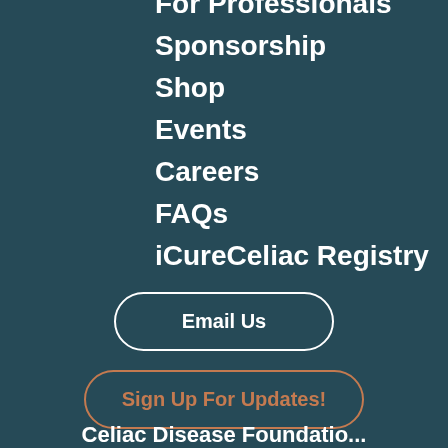For Professionals
Sponsorship
Shop
Events
Careers
FAQs
iCureCeliac Registry
Email Us
Sign Up For Updates!
Celiac Disease Foundation